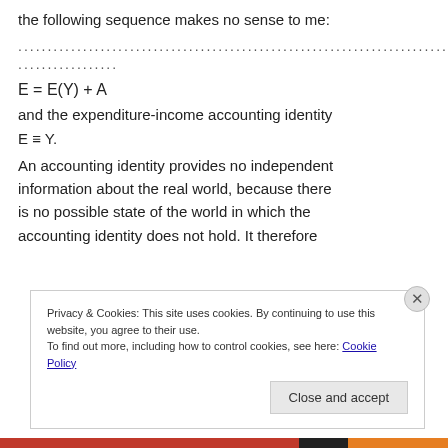the following sequence makes no sense to me:
...............................................................
..................
and the expenditure-income accounting identity E ≡ Y.
An accounting identity provides no independent information about the real world, because there is no possible state of the world in which the accounting identity does not hold. It therefore
Privacy & Cookies: This site uses cookies. By continuing to use this website, you agree to their use.
To find out more, including how to control cookies, see here: Cookie Policy
Close and accept